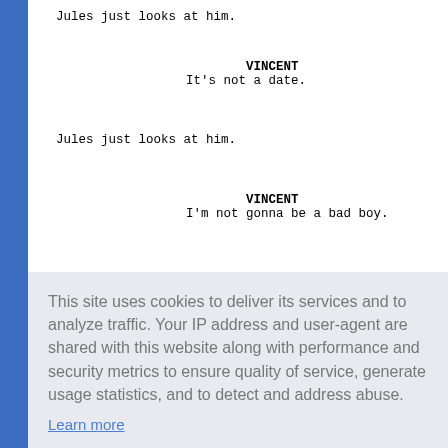Jules just looks at him.
VINCENT
It's not a date.
Jules just looks at him.
VINCENT
I'm not gonna be a bad boy.
self.
gers tha
This site uses cookies to deliver its services and to analyze traffic. Your IP address and user-agent are shared with this website along with performance and security metrics to ensure quality of service, generate usage statistics, and to detect and address abuse.
Learn more
Got it!
characte
go to
Don't play with me, you said
somethin', now what was it?